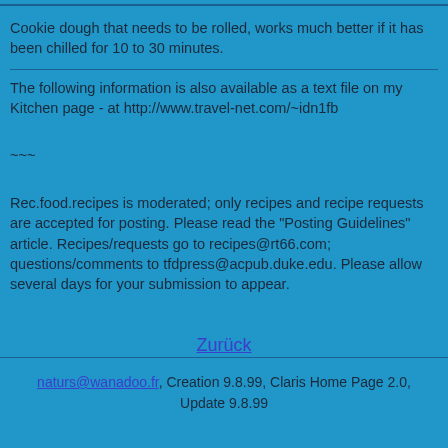Cookie dough that needs to be rolled, works much better if it has been chilled for 10 to 30 minutes.
The following information is also available as a text file on my Kitchen page - at http://www.travel-net.com/~idn1fb
~~~
Rec.food.recipes is moderated; only recipes and recipe requests are accepted for posting. Please read the "Posting Guidelines" article. Recipes/requests go to recipes@rt66.com; questions/comments to tfdpress@acpub.duke.edu. Please allow several days for your submission to appear.
Zurück
naturs@wanadoo.fr, Creation 9.8.99, Claris Home Page 2.0, Update 9.8.99